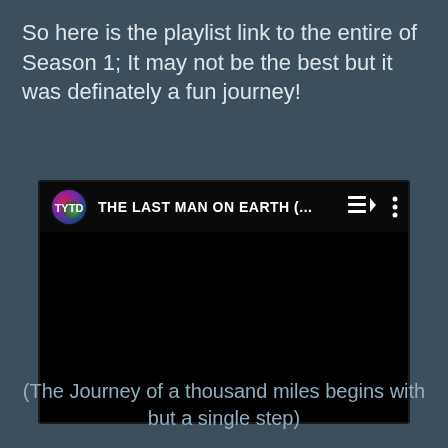So here is the playlist link to the entire of Season 1; It may not be the best but it was definately a fun journey!
[Figure (screenshot): A YouTube/TYTD playlist embed showing a black video area with a logo circle and title 'THE LAST MAN ON EARTH (... ' with playlist and menu icons]
(The Journey of a thousand miles begins with but a single step)